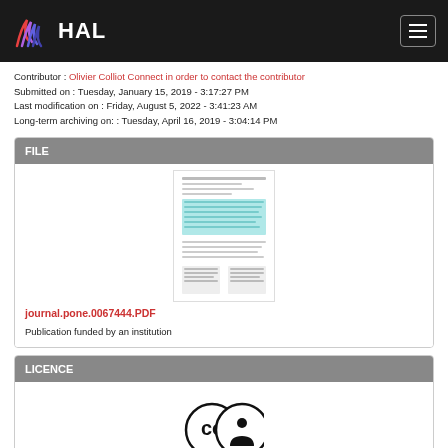HAL
Contributor : Olivier Colliot Connect in order to contact the contributor
Submitted on : Tuesday, January 15, 2019 - 3:17:27 PM
Last modification on : Friday, August 5, 2022 - 3:41:23 AM
Long-term archiving on: : Tuesday, April 16, 2019 - 3:04:14 PM
FILE
[Figure (other): Thumbnail of journal.pone.0067444.PDF document]
journal.pone.0067444.PDF
Publication funded by an institution
LICENCE
[Figure (logo): Creative Commons Attribution (CC BY) license icons]
Distributed under a Creative Commons Attribution 4.0 International License